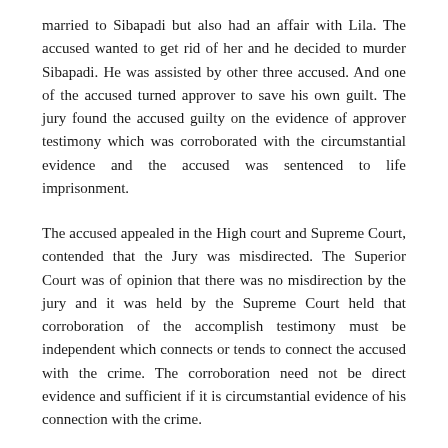married to Sibapadi but also had an affair with Lila. The accused wanted to get rid of her and he decided to murder Sibapadi. He was assisted by other three accused. And one of the accused turned approver to save his own guilt. The jury found the accused guilty on the evidence of approver testimony which was corroborated with the circumstantial evidence and the accused was sentenced to life imprisonment.
The accused appealed in the High court and Supreme Court, contended that the Jury was misdirected. The Superior Court was of opinion that there was no misdirection by the jury and it was held by the Supreme Court held that corroboration of the accomplish testimony must be independent which connects or tends to connect the accused with the crime. The corroboration need not be direct evidence and sufficient if it is circumstantial evidence of his connection with the crime.